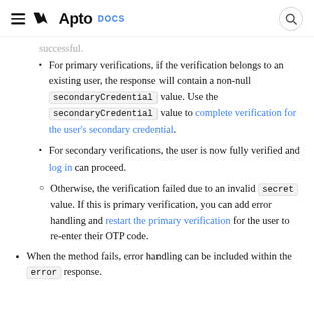Apto DOCS
successful.
For primary verifications, if the verification belongs to an existing user, the response will contain a non-null secondaryCredential value. Use the secondaryCredential value to complete verification for the user's secondary credential.
For secondary verifications, the user is now fully verified and log in can proceed.
Otherwise, the verification failed due to an invalid secret value. If this is primary verification, you can add error handling and restart the primary verification for the user to re-enter their OTP code.
When the method fails, error handling can be included within the error response.